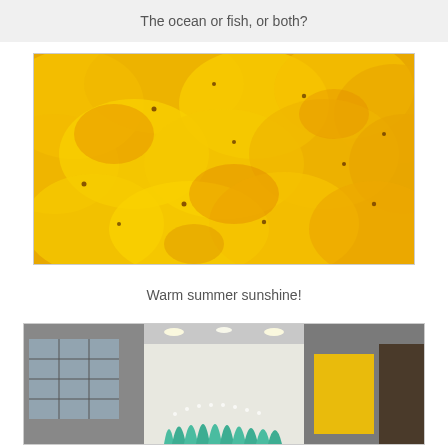The ocean or fish, or both?
[Figure (photo): A large horizontal abstract painting with warm yellow, orange, and gold tones, hanging on a white wall. The painting features layered, overlapping curved shapes resembling fish scales or petals in yellow and orange hues with scattered dark dots.]
Warm summer sunshine!
[Figure (photo): Interior view of a building lobby or corridor with recessed ceiling lights, large windows showing a cityscape, and a colorful sculptural installation featuring teal/green scalloped forms and a yellow panel, with additional art visible in the background.]